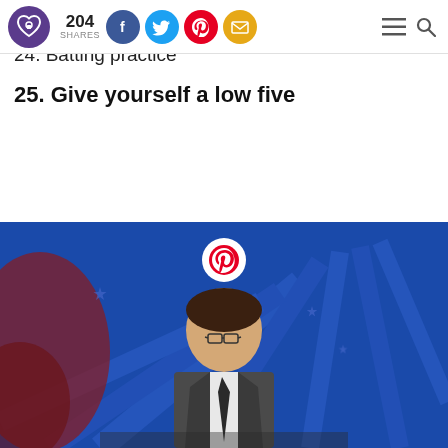204 SHARES [social icons: Facebook, Twitter, Pinterest, Email] [menu] [search]
23. One guy, one cup
24. Batting practice
25. Give yourself a low five
[Figure (photo): A man in a suit and tie with glasses sitting at a desk, on a blue decorative background. A Pinterest icon overlay appears at the top center of the image.]